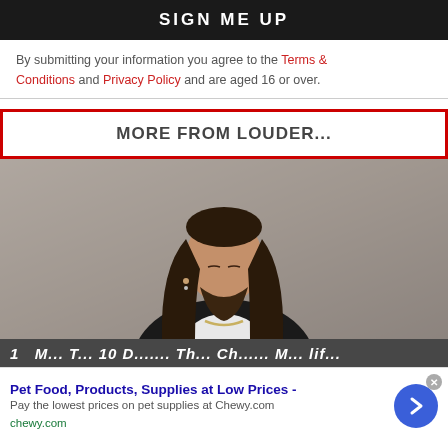SIGN ME UP
By submitting your information you agree to the Terms & Conditions and Privacy Policy and are aged 16 or over.
MORE FROM LOUDER...
[Figure (photo): Man with long dark hair and beard wearing a black leather jacket and white t-shirt, photographed against a grey wall]
1  M... T... 10 D....... Th... Ch...... M... lif...
Pet Food, Products, Supplies at Low Prices - Pay the lowest prices on pet supplies at Chewy.com chewy.com